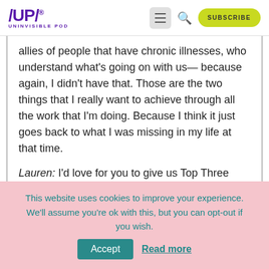/UP/ UNINVISIBLE POD — header with menu, search, and subscribe button
allies of people that have chronic illnesses, who understand what's going on with us— because again, I didn't have that. Those are the two things that I really want to achieve through all the work that I'm doing. Because I think it just goes back to what I was missing in my life at that time.
Lauren: I'd love for you to give us Top Three Tips you have for people who support— maybe
This website uses cookies to improve your experience. We'll assume you're ok with this, but you can opt-out if you wish.  Accept  Read more